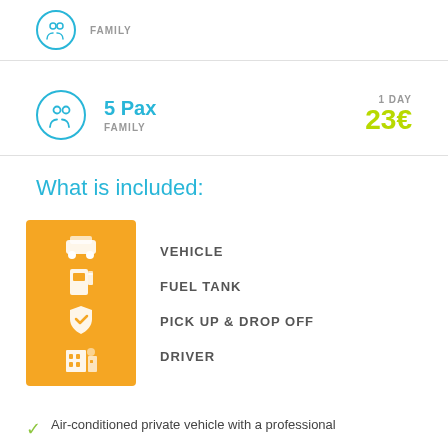FAMILY
5 Pax
FAMILY
1 DAY
23€
What is included:
VEHICLE
FUEL TANK
PICK UP & DROP OFF
DRIVER
Air-conditioned private vehicle with a professional